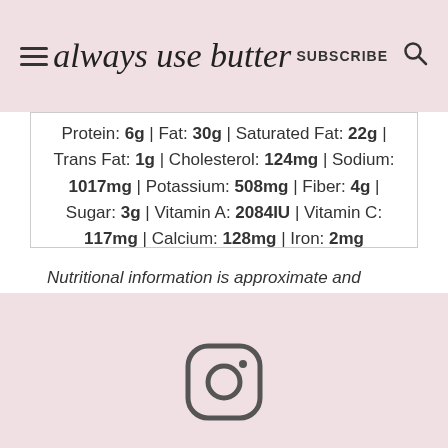always use butter | SUBSCRIBE
Protein: 6g | Fat: 30g | Saturated Fat: 22g | Trans Fat: 1g | Cholesterol: 124mg | Sodium: 1017mg | Potassium: 508mg | Fiber: 4g | Sugar: 3g | Vitamin A: 2084IU | Vitamin C: 117mg | Calcium: 128mg | Iron: 2mg
Nutritional information is approximate and automatically calculated, and should only be viewed as an indication.
[Figure (logo): Instagram logo icon in dark outline style]